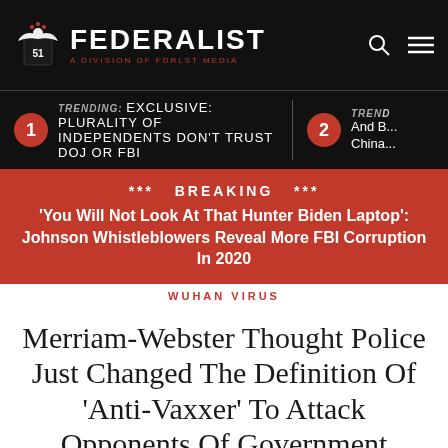THE FEDERALIST — A DIVISION OF FDRLST MEDIA
TRENDING: EXCLUSIVE: Plurality Of Independents Don't Trust DOJ Or FBI
TRENDING: (partial) And B... China...
*** BREAKING *** 'You Will Not Look At That Hunter Biden Laptop': Johnson Whistleblowers Reveal More FBI Corruption In 2020
WUHAN VIRUS
Merriam-Webster Thought Police Just Changed The Definition Of 'Anti-Vaxxer' To Attack Opponents Of Government Mandates